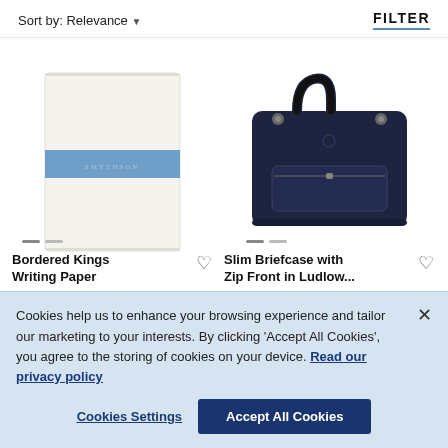Sort by: Relevance ▾
FILTER
[Figure (photo): Product photo of Bordered Kings Writing Paper - white paper with a blue stripe]
[Figure (photo): Product photo of Slim Briefcase with Zip Front in dark navy blue leather]
Bordered Kings Writing Paper ♡
Slim Briefcase with Zip Front in Ludlow ♡
Cookies help us to enhance your browsing experience and tailor our marketing to your interests. By clicking 'Accept All Cookies', you agree to the storing of cookies on your device. Read our privacy policy
Cookies Settings
Accept All Cookies